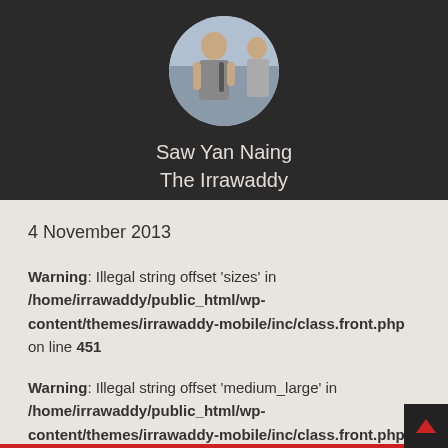[Figure (photo): Circular avatar photo of a man wearing a grey t-shirt with a backpack, outdoors background]
Saw Yan Naing
The Irrawaddy
4 November 2013
Warning: Illegal string offset 'sizes' in /home/irrawaddy/public_html/wp-content/themes/irrawaddy-mobile/inc/class.front.php on line 451
Warning: Illegal string offset 'medium_large' in /home/irrawaddy/public_html/wp-content/themes/irrawaddy-mobile/inc/class.front.php